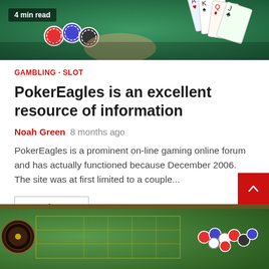[Figure (photo): Top image of playing cards and casino chips on green felt background, with a '4 min read' badge overlay]
4 min read
GAMBLING · SLOT
PokerEagles is an excellent resource of information
Noah Green   8 months ago
PokerEagles is a prominent on-line gaming online forum and has actually functioned because December 2006. The site was at first limited to a couple...
Read More
[Figure (photo): Bottom image of a roulette table with chips and roulette wheel]